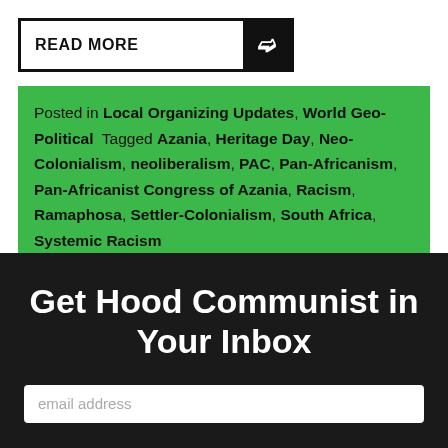[Figure (other): READ MORE button with black border and black arrow chevron on right side]
Posted in Local Organizing Updates, World Geo-Political  Tagged Azania, Heritage Day, Neo-Colonialism, neoliberalism, PAC, Pan-Africanism, Pan-Africanist Congress of Azania, Racism, Ramaphosa, Settler-Colonialism, South Africa, Systemic Racism
Get Hood Communist in Your Inbox
email address